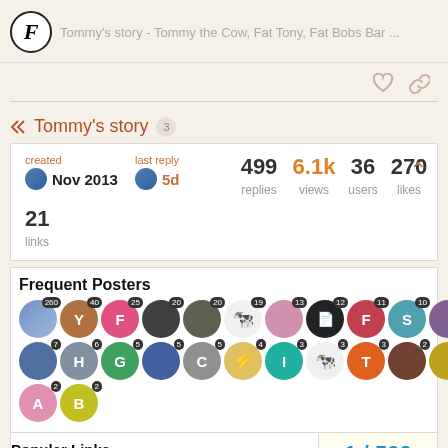Tommy's story (forum thread header)
Tommy's story 3
| created | last reply | replies | views | users | likes | links |
| --- | --- | --- | --- | --- | --- | --- |
| Nov 2013 | 5d | 499 | 6.1k | 36 | 270 | 21 |
Frequent Posters
Poster counts: 260, 40, 25, 20, 20, 19, 13, 12, 11, 10, 8, 7, 6, 5, 5, 5, 4, 3, 3, 3, 2, 2, 2
Popular Links
1 / 500